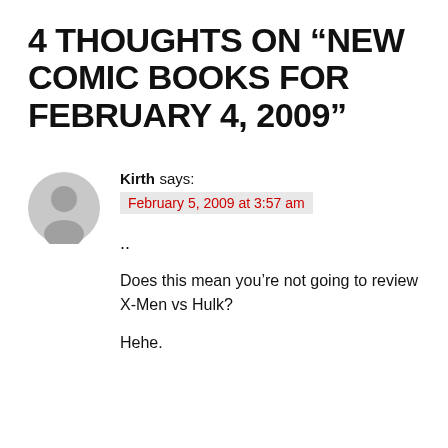4 THOUGHTS ON “NEW COMIC BOOKS FOR FEBRUARY 4, 2009”
[Figure (illustration): Gray circular avatar icon of a generic user silhouette]
Kirth says:
February 5, 2009 at 3:57 am
..
Does this mean you’re not going to review X-Men vs Hulk?
Hehe.